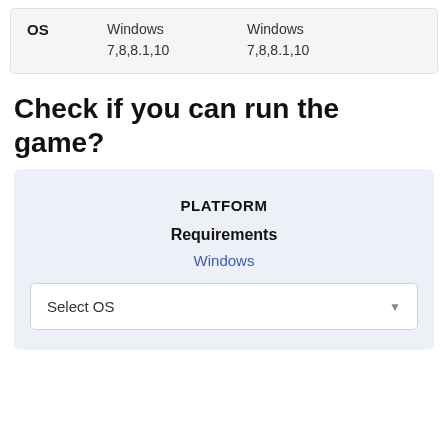|  | Column 1 | Column 2 |
| --- | --- | --- |
| OS | Windows
7,8,8.1,10 | Windows
7,8,8.1,10 |
Check if you can run the game?
PLATFORM
Requirements
Windows
Select OS